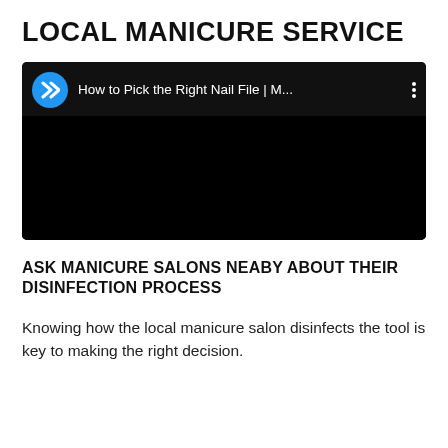LOCAL MANICURE SERVICE
[Figure (screenshot): Embedded video player with black background. Top bar shows a blue circle play button with a double chevron/arrow icon, video title 'How to Pick the Right Nail File | M...' in white text, and a vertical three-dot menu icon on the right.]
ASK MANICURE SALONS NEABY ABOUT THEIR DISINFECTION PROCESS
Knowing how the local manicure salon disinfects the tool is key to making the right decision.